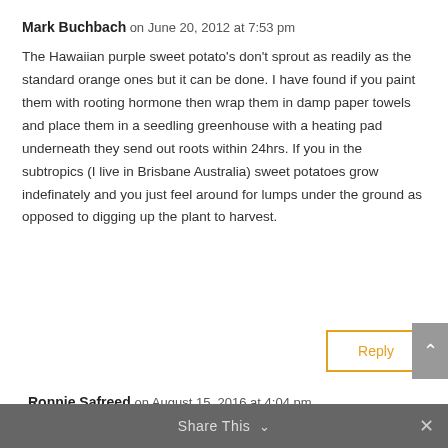Mark Buchbach on June 20, 2012 at 7:53 pm
The Hawaiian purple sweet potato's don't sprout as readily as the standard orange ones but it can be done. I have found if you paint them with rooting hormone then wrap them in damp paper towels and place them in a seedling greenhouse with a heating pad underneath they send out roots within 24hrs. If you in the subtropics (I live in Brisbane Australia) sweet potatoes grow indefinately and you just feel around for lumps under the ground as opposed to digging up the plant to harvest.
Reply
Ronnie Safreed on August 15, 2016 at 4:04 pm
The leaves of the sweet potato can be eaten
Share This